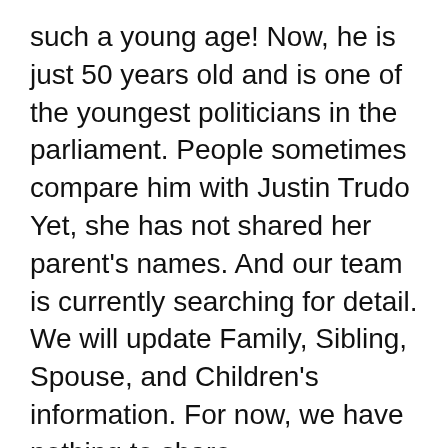such a young age! Now, he is just 50 years old and is one of the youngest politicians in the parliament. People sometimes compare him with Justin Trudo Yet, she has not shared her parent's names. And our team is currently searching for detail. We will update Family, Sibling, Spouse, and Children's information. For now, we have nothing to share.
Relationship Records
Our research says that he was not engaged. But we are determined to look for something in the previous dates and hookups. To this day's record, Jasmin Emric is not dating anyone. Jasmin